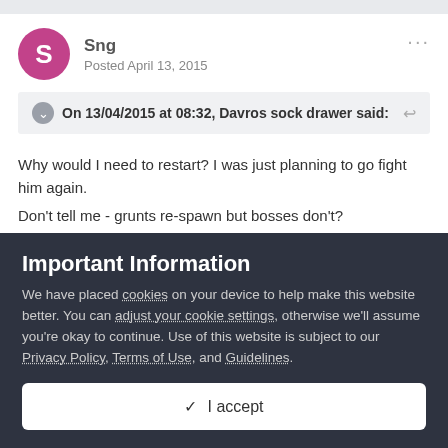Sng
Posted April 13, 2015
On 13/04/2015 at 08:32, Davros sock drawer said:
Why would I need to restart? I was just planning to go fight him again.
Don't tell me - grunts re-spawn but bosses don't?
Important Information
We have placed cookies on your device to help make this website better. You can adjust your cookie settings, otherwise we'll assume you're okay to continue. Use of this website is subject to our Privacy Policy, Terms of Use, and Guidelines.
✓  I accept